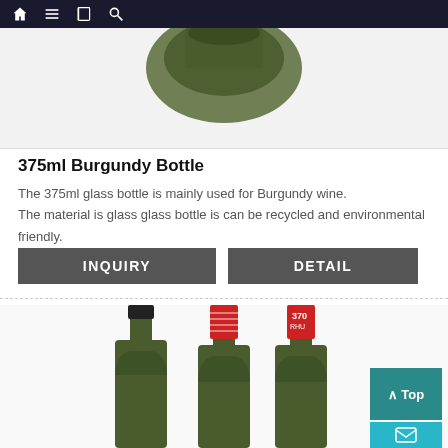Navigation bar with home, menu, book, search icons and back arrow
[Figure (photo): Bottom of a dark green glass bottle on white background, top portion cropped]
375ml Burgundy Bottle
The 375ml glass bottle is mainly used for Burgundy wine.
The material is glass—glass bottle is can be recycled and environmental friendly.
INQUIRY
DETAIL
[Figure (photo): Three dark green glass wine bottles with different caps: one with black metal cap, two with red foil capsules with white text/logo, shot against white background]